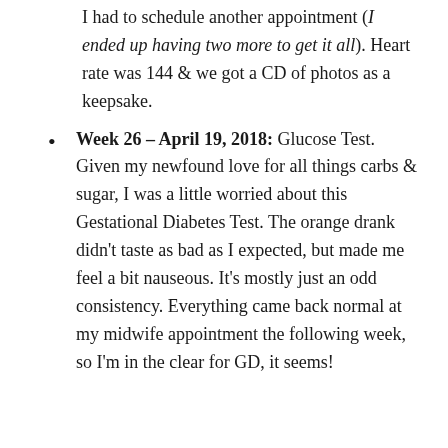I had to schedule another appointment (I ended up having two more to get it all). Heart rate was 144 & we got a CD of photos as a keepsake.
Week 26 – April 19, 2018: Glucose Test. Given my newfound love for all things carbs & sugar, I was a little worried about this Gestational Diabetes Test. The orange drank didn't taste as bad as I expected, but made me feel a bit nauseous. It's mostly just an odd consistency. Everything came back normal at my midwife appointment the following week, so I'm in the clear for GD, it seems!